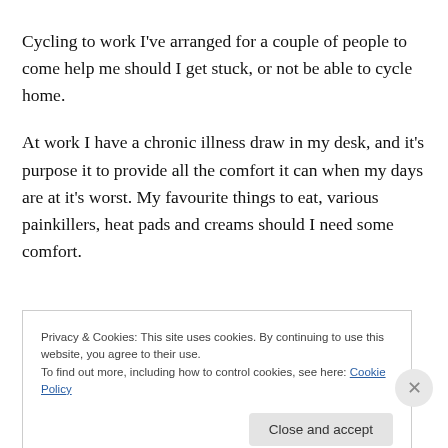Cycling to work I've arranged for a couple of people to come help me should I get stuck, or not be able to cycle home.
At work I have a chronic illness draw in my desk, and it's purpose it to provide all the comfort it can when my days are at it's worst. My favourite things to eat, various painkillers, heat pads and creams should I need some comfort.
Privacy & Cookies: This site uses cookies. By continuing to use this website, you agree to their use.
To find out more, including how to control cookies, see here: Cookie Policy
Close and accept